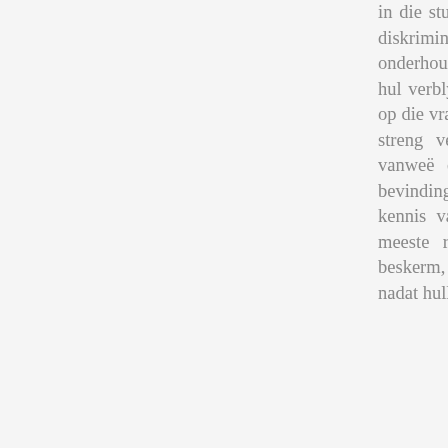in die studie as 'n vlugteling geïdentifiseer word enige moontlike diskriminasie of stigma ervaar, het die navorser voor die voet onderhoude met Kongolese by die mark gevoer sonder om hulle na hul verblyfstatus uit te vra. Die deelnemers moes egter hul status op die vraelys aandui deur die toepaslike blokkie te merk. Voorts is streng vertroulikheid gehandhaaf om enige moontlike stigma vanweë die respondente se vlugtelingstatus te voorkom. Die bevindinge toon dat Kongolese vlugtelinge wél oor 'n mate van kennis van MIV/vigs en die verspreiding daarvan beskik. Die meeste respondente weet hoe om hulself teen MIV/vigs te beskerm, hoewel daardie beskerming oënskynlik gestaak word kort nadat hulle 'n vertrouensverhouding met hul